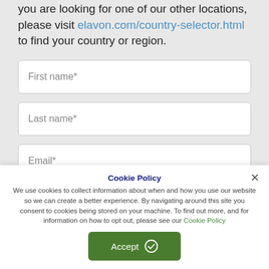you are looking for one of our other locations, please visit elavon.com/country-selector.html to find your country or region.
First name*
Last name*
Email*
Cookie Policy
We use cookies to collect information about when and how you use our website so we can create a better experience. By navigating around this site you consent to cookies being stored on your machine. To find out more, and for information on how to opt out, please see our Cookie Policy
Accept